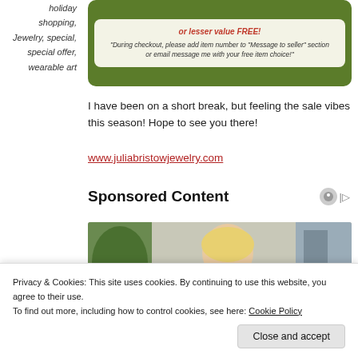holiday shopping, Jewelry, special, special offer, wearable art
[Figure (infographic): Green banner with white/cream inner box containing promotional text about a free item of lesser value offer, with instructions to add item number to Message to seller during checkout.]
I have been on a short break, but feeling the sale vibes this season! Hope to see you there!
www.juliabristowjewelry.com
Sponsored Content
[Figure (photo): Photo of a blonde woman in a yellow/orange sweater looking downward, with a plant in the background.]
Privacy & Cookies: This site uses cookies. By continuing to use this website, you agree to their use.
To find out more, including how to control cookies, see here: Cookie Policy
Close and accept